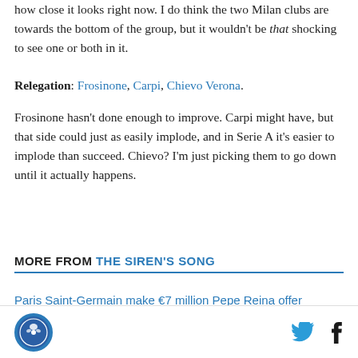how close it looks right now. I do think the two Milan clubs are towards the bottom of the group, but it wouldn't be that shocking to see one or both in it.
Relegation: Frosinone, Carpi, Chievo Verona. Frosinone hasn't done enough to improve. Carpi might have, but that side could just as easily implode, and in Serie A it's easier to implode than succeed. Chievo? I'm just picking them to go down until it actually happens.
MORE FROM THE SIREN'S SONG
Paris Saint-Germain make €7 million Pepe Reina offer
Logo and social icons